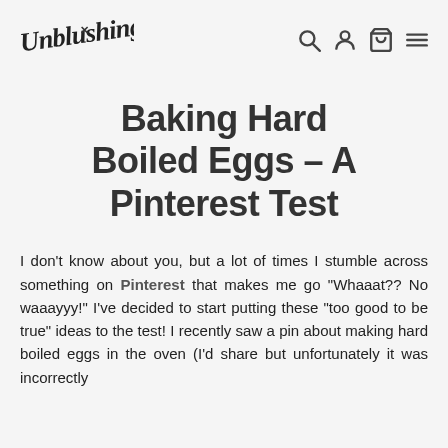Unblushing [logo] [search icon] [account icon] [cart icon] [menu icon]
Baking Hard Boiled Eggs – A Pinterest Test
I don't know about you, but a lot of times I stumble across something on Pinterest that makes me go "Whaaat?? No waaayyy!" I've decided to start putting these "too good to be true" ideas to the test! I recently saw a pin about making hard boiled eggs in the oven (I'd share but unfortunately it was incorrectly